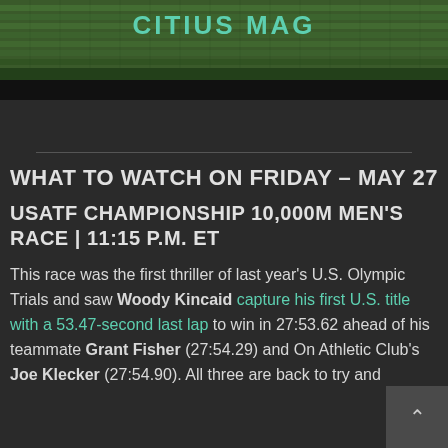[Figure (photo): Stadium seating with green/teal seats and a 'CITIUS MAG' logo text overlay in teal color, followed by a black bar below]
WHAT TO WATCH ON FRIDAY – MAY 27
USATF CHAMPIONSHIP 10,000M MEN'S RACE | 11:15 P.M. ET
This race was the first thriller of last year's U.S. Olympic Trials and saw Woody Kincaid capture his first U.S. title with a 53.47-second last lap to win in 27:53.62 ahead of his teammate Grant Fisher (27:54.29) and On Athletic Club's Joe Klecker (27:54.90). All three are back to try and